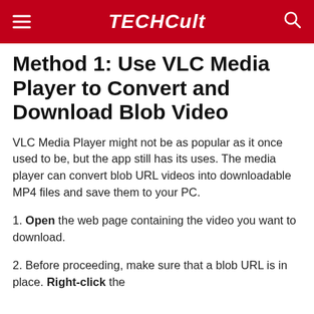TECHCult
Method 1: Use VLC Media Player to Convert and Download Blob Video
VLC Media Player might not be as popular as it once used to be, but the app still has its uses. The media player can convert blob URL videos into downloadable MP4 files and save them to your PC.
1. Open the web page containing the video you want to download.
2. Before proceeding, make sure that a blob URL is in place. Right-click the...